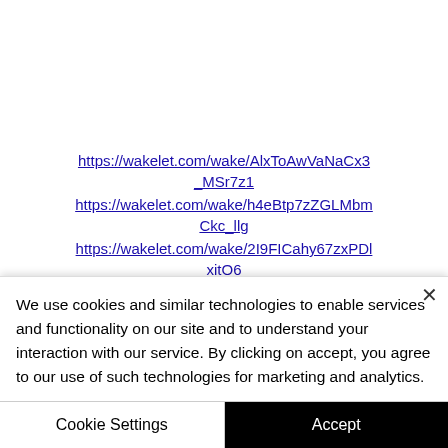https://wakelet.com/wake/AlxToAwVaNaCx3_MSr7z1
https://wakelet.com/wake/h4eBtp7zZGLMbmCkc_llg
https://wakelet.com/wake/2I9FICahy67zxPDlxitO6
https://melaninterest.com/pin/laali-ki-shaadi...
We use cookies and similar technologies to enable services and functionality on our site and to understand your interaction with our service. By clicking on accept, you agree to our use of such technologies for marketing and analytics.